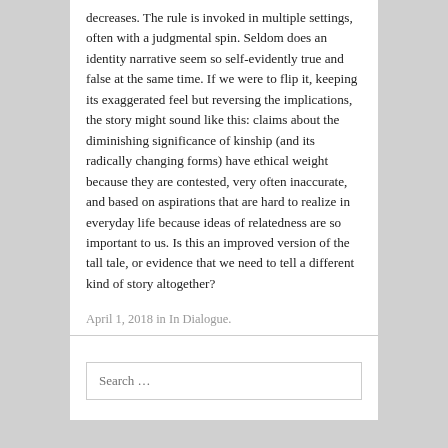decreases. The rule is invoked in multiple settings, often with a judgmental spin. Seldom does an identity narrative seem so self-evidently true and false at the same time. If we were to flip it, keeping its exaggerated feel but reversing the implications, the story might sound like this: claims about the diminishing significance of kinship (and its radically changing forms) have ethical weight because they are contested, very often inaccurate, and based on aspirations that are hard to realize in everyday life because ideas of relatedness are so important to us. Is this an improved version of the tall tale, or evidence that we need to tell a different kind of story altogether?
April 1, 2018 in In Dialogue.